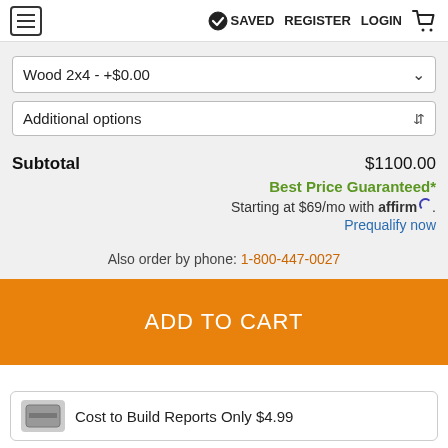SAVED REGISTER LOGIN
Wood 2x4 - +$0.00
Additional options
Subtotal $1100.00
Best Price Guaranteed*
Starting at $69/mo with affirm. Prequalify now
Also order by phone: 1-800-447-0027
ADD TO CART
Cost to Build Reports Only $4.99